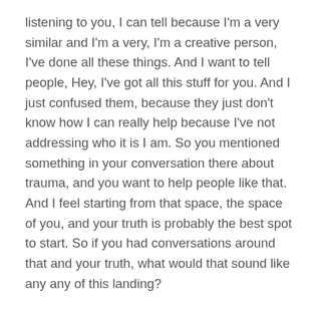listening to you, I can tell because I'm a very similar and I'm a very, I'm a creative person, I've done all these things. And I want to tell people, Hey, I've got all this stuff for you. And I just confused them, because they just don't know how I can really help because I've not addressing who it is I am. So you mentioned something in your conversation there about trauma, and you want to help people like that. And I feel starting from that space, the space of you, and your truth is probably the best spot to start. So if you had conversations around that and your truth, what would that sound like any any of this landing?
Heather  27:11